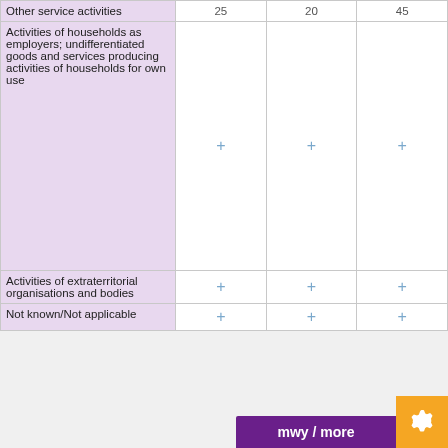|  | Col1 | Col2 | Col3 |
| --- | --- | --- | --- |
| Other service activities | 25 | 20 | 45 |
| Activities of households as employers; undifferentiated goods and services producing activities of households for own use | + | + | + |
| Activities of extraterritorial organisations and bodies | + | + | + |
| Not known/Not applicable | + | + | + |
Metadata
| Title | Notes | Open Data |
| --- | --- | --- |
| EDUC00124: Industry of ... |  |  |
[Figure (screenshot): Cookie Control popup overlay with purple header, agree button, and about link]